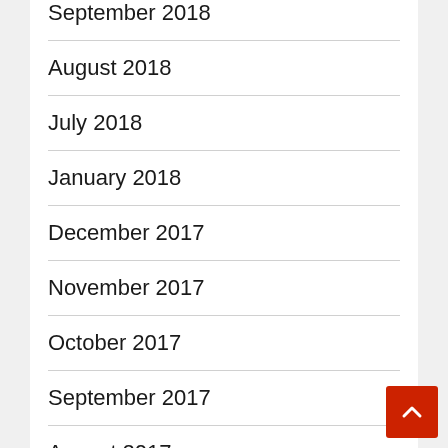September 2018
August 2018
July 2018
January 2018
December 2017
November 2017
October 2017
September 2017
August 2017